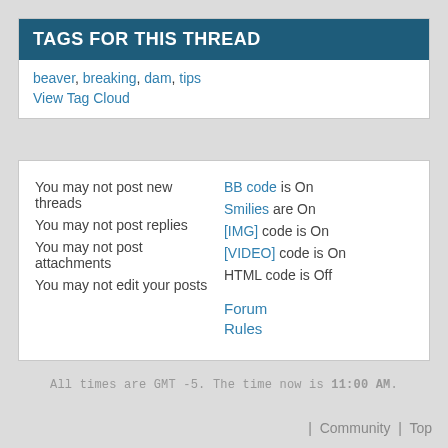TAGS FOR THIS THREAD
beaver, breaking, dam, tips
View Tag Cloud
You may not post new threads
You may not post replies
You may not post attachments
You may not edit your posts
BB code is On
Smilies are On
[IMG] code is On
[VIDEO] code is On
HTML code is Off
Forum Rules
All times are GMT -5. The time now is 11:00 AM.
| Community | Top